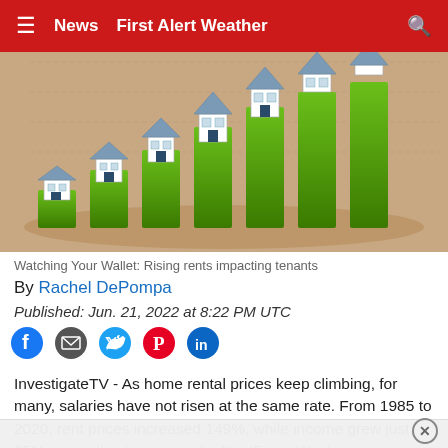≡  News  First Alert Weather  🔍
[Figure (illustration): Infographic bar chart illustration showing a row of houses of increasing size/height on green bars, representing rising rent prices, on a tan/beige background.]
Watching Your Wallet: Rising rents impacting tenants
By Rachel DePompa
Published: Jun. 21, 2022 at 8:22 PM UTC
InvestigateTV - As home rental prices keep climbing, for many, salaries have not risen at the same rate. From 1985 to 2020, rent prices increased 149%, while income grew just 35%, according to a report by RealEstateWitch.com.
Doretha Dee, an economist and spokesperson for Clever...